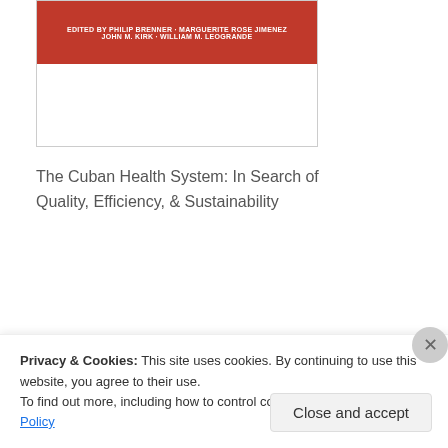[Figure (illustration): Book cover image with red banner at top showing editor names: EDITED BY PHILIP BRENNER · MARGUERITE ROSE JIMENEZ, JOHN M. KIRK · WILLIAM M. LEOGRANDE. White area below with 'Copyrighted Material' text.]
The Cuban Health System: In Search of Quality, Efficiency, & Sustainability
[Figure (photo): Book cover for National Geographic World's Best Cities. Blue sky gradient background with National Geographic logo (yellow border square) at top left, text 'WORLD'S BEST' and large 'CITIES' lettering.]
Privacy & Cookies: This site uses cookies. By continuing to use this website, you agree to their use.
To find out more, including how to control cookies, see here: Cookie Policy
Close and accept